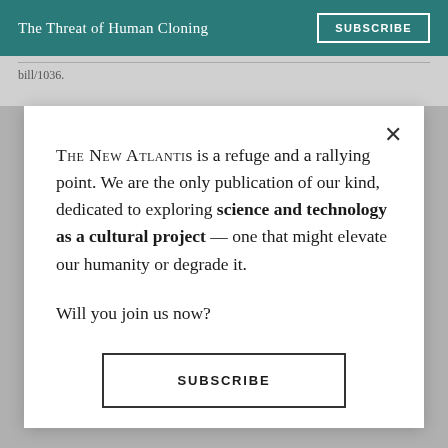The Threat of Human Cloning | SUBSCRIBE
bill/1036.
THE NEW ATLANTIS is a refuge and a rallying point. We are the only publication of our kind, dedicated to exploring science and technology as a cultural project — one that might elevate our humanity or degrade it.

Will you join us now?
SUBSCRIBE